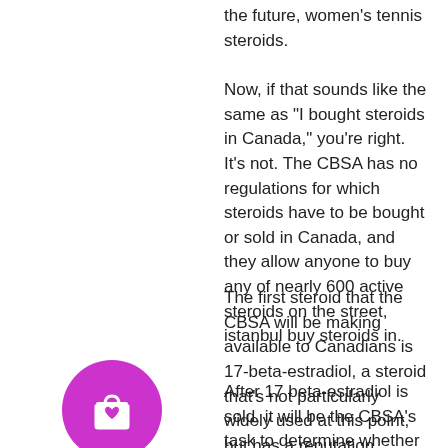the future, women's tennis steroids.
Now, if that sounds like the same as "I bought steroids in Canada," you're right. It's not. The CBSA has no regulations for which steroids have to be bought or sold in Canada, and they allow anyone to buy any of nearly 600 active steroids on the street, istanbul buy steroids in.
The first steroid that the CBSA will be making available to Canadians is 17-beta-estradiol, a steroid that's not particularly widely used at this point, but has a reputation among competitive bodybuilders for having a high potency similar to testosterone.
[Figure (illustration): Magenta/purple circle icon containing a shopping bag with a heart symbol]
After 17 beta-estradiol is sold, it will be the CBSA's task to determine whether the steroid contains other inactive